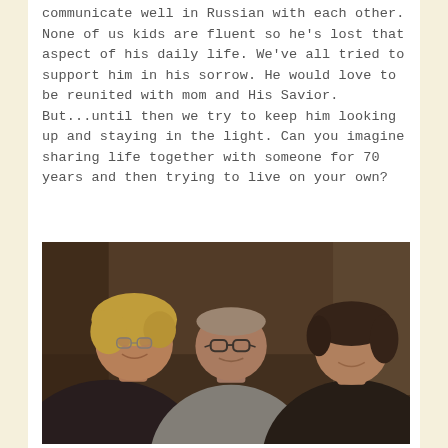communicate well in Russian with each other. None of us kids are fluent so he's lost that aspect of his daily life. We've all tried to support him in his sorrow. He would love to be reunited with mom and His Savior. But...until then we try to keep him looking up and staying in the light. Can you imagine sharing life together with someone for 70 years and then trying to live on your own?
[Figure (photo): A photograph of three people posing together in a dimly lit room. On the left is a woman with short blonde hair wearing a dark sweater, smiling. In the center is an elderly man wearing glasses and a gray shirt. On the right is a woman with dark shoulder-length hair wearing a dark top, also smiling.]